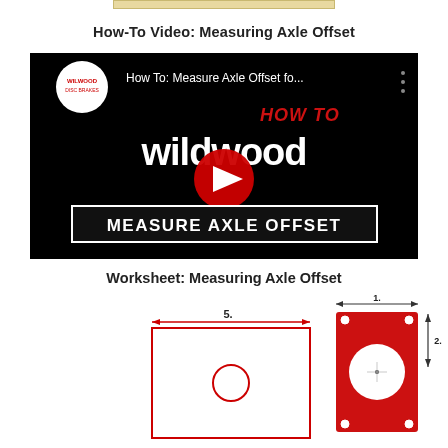How-To Video: Measuring Axle Offset
[Figure (screenshot): YouTube video thumbnail for Wildwood 'How To: Measure Axle Offset fo...' video. Black background with Wildwood logo in top-left, three-dot menu top-right, red 'HOW TO' text, large white 'wildwood' logo text, red YouTube play button in center, white bold text 'MEASURE AXLE OFFSET' in bordered box at bottom.]
Worksheet: Measuring Axle Offset
[Figure (engineering-diagram): Engineering worksheet diagram showing axle offset measurement with labeled dimensions. Red bracket plate outline with dimension arrows labeled with numbers 1, 2, 5. Partial view cut off at bottom of page.]